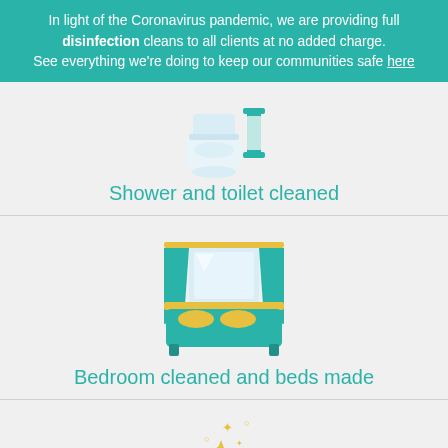In light of the Coronavirus pandemic, we are providing full disinfection cleans to all clients at no added charge. See everything we're doing to keep our communities safe here
[Figure (illustration): Icon of a toilet/sink bathroom fixture in light blue/white tones with teal accent]
Shower and toilet cleaned
[Figure (illustration): Icon of a bed with teal headboard, yellow pillows, and teal curtain/canopy above]
Bedroom cleaned and beds made
[Figure (illustration): Partial icon of sparkling stars/magic wand in yellow/gold tones]